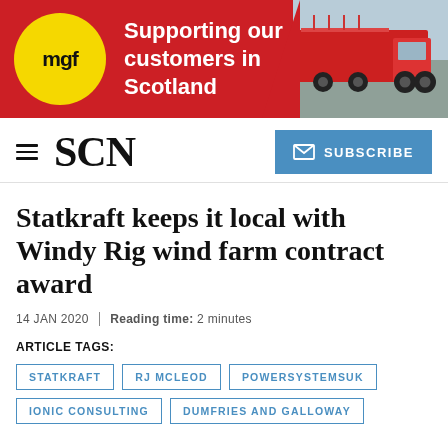[Figure (illustration): MGF advertisement banner: red background with yellow circle MGF logo on left, bold white text 'Supporting our customers in Scotland', and a red truck photo on the right.]
SCN
Statkraft keeps it local with Windy Rig wind farm contract award
14 JAN 2020 | Reading time: 2 minutes
ARTICLE TAGS:
STATKRAFT
RJ MCLEOD
POWERSYSTEMSUK
IONIC CONSULTING
DUMFRIES AND GALLOWAY